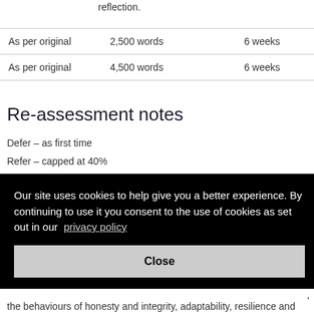reflection.
| As per original | 2,500 words | 6 weeks |
| As per original | 4,500 words | 6 weeks |
Re-assessment notes
Defer – as first time
Refer – capped at 40%
Our site uses cookies to help give you a better experience. By continuing to use it you consent to the use of cookies as set out in our privacy policy
Close
lied
can
and
tion
gh
ence
the behaviours of honesty and integrity, adaptability, resilience and